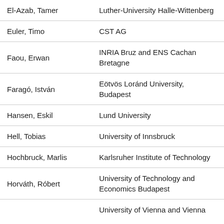| Name | Affiliation |
| --- | --- |
| El-Azab, Tamer | Luther-University Halle-Wittenberg |
| Euler, Timo | CST AG |
| Faou, Erwan | INRIA Bruz and ENS Cachan Bretagne |
| Faragó, István | Eötvös Loránd University, Budapest |
| Hansen, Eskil | Lund University |
| Hell, Tobias | University of Innsbruck |
| Hochbruck, Marlis | Karlsruher Institute of Technology |
| Horváth, Róbert | University of Technology and Economics Budapest |
|  | University of Vienna and Vienna |